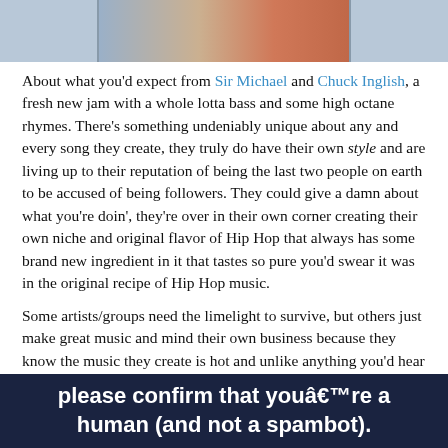[Figure (photo): Partial photo strip showing two people, one appears to be wearing a red shirt, and another with a dog or husky, cropped at top of page]
About what you'd expect from Sir Michael and Chuck Inglish, a fresh new jam with a whole lotta bass and some high octane rhymes. There's something undeniably unique about any and every song they create, they truly do have their own style and are living up to their reputation of being the last two people on earth to be accused of being followers. They could give a damn about what you're doin', they're over in their own corner creating their own niche and original flavor of Hip Hop that always has some brand new ingredient in it that tastes so pure you'd swear it was in the original recipe of Hip Hop music.
Some artists/groups need the limelight to survive, but others just make great music and mind their own business because they know the music they create is hot and unlike anything you'd hear from everyone else. So much respect for the way they go about making music, you'd think other artists would break out the pen and the pad to take some notes on the style of Hip Hop that @sirmichaelrocks and @chuckisdope create.
As a bonus check out Sir Michael's new homemade video he released this week titled Foreign Features...
please confirm that youâ€™re a human (and not a spambot).